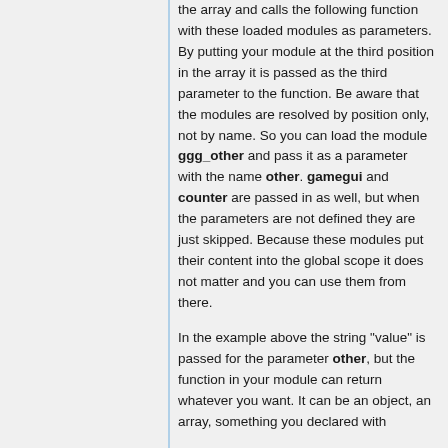the array and calls the following function with these loaded modules as parameters. By putting your module at the third position in the array it is passed as the third parameter to the function. Be aware that the modules are resolved by position only, not by name. So you can load the module ggg_other and pass it as a parameter with the name other. gamegui and counter are passed in as well, but when the parameters are not defined they are just skipped. Because these modules put their content into the global scope it does not matter and you can use them from there.
In the example above the string "value" is passed for the parameter other, but the function in your module can return whatever you want. It can be an object, an array, something you declared with dejected...